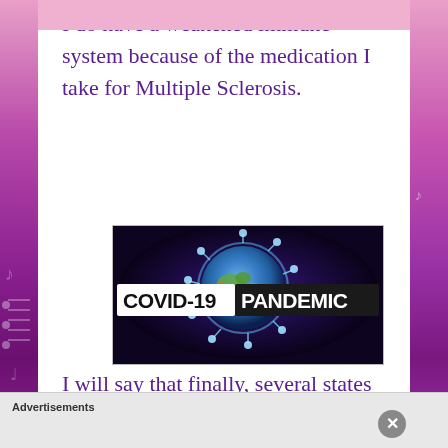I do have a weakened immune system because of the medication I take for Multiple Sclerosis.
[Figure (photo): COVID-19 PANDEMIC graphic showing a stylized globe with coronavirus spikes and glowing blue energy, text reads COVID-19 PANDEMIC in bold white letters on dark background]
I will say that finally, several states have made masks when out in public
Advertisements